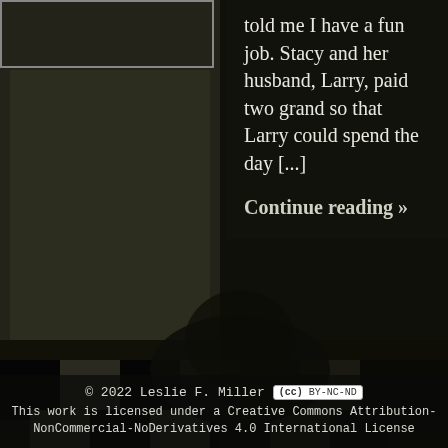[Figure (photo): Dark background photo showing a person on a black and white checkered floor, partially obscured. Left side shows a light wall. Background is very dark/low-key.]
told me I have a fun job. Stacy and her husband, Larry, paid two grand so that Larry could spend the day [...]
Continue reading »
© 2022 Leslie F. Miller [CC BY-NC-ND] This work is licensed under a Creative Commons Attribution-NonCommercial-NoDerivatives 4.0 International License